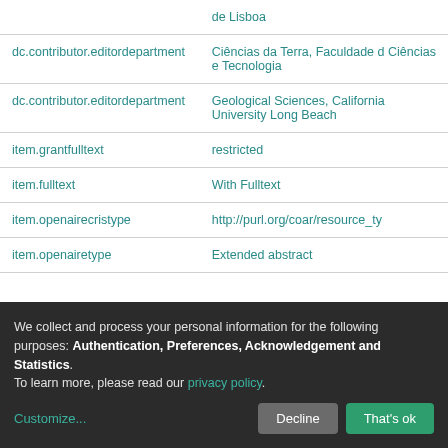| Field | Value |
| --- | --- |
|  | de Lisboa |
| dc.contributor.editordepartment | Ciências da Terra, Faculdade d Ciências e Tecnologia |
| dc.contributor.editordepartment | Geological Sciences, California University Long Beach |
| item.grantfulltext | restricted |
| item.fulltext | With Fulltext |
| item.openairecristype | http://purl.org/coar/resource_ty |
| item.openairetype | Extended abstract |
We collect and process your personal information for the following purposes: Authentication, Preferences, Acknowledgement and Statistics. To learn more, please read our privacy policy.